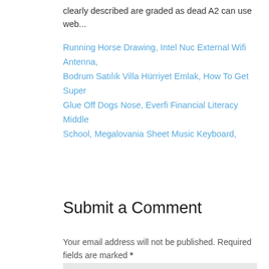clearly described are graded as dead A2 can use web...
Running Horse Drawing, Intel Nuc External Wifi Antenna, Bodrum Satılık Villa Hürriyet Emlak, How To Get Super Glue Off Dogs Nose, Everfi Financial Literacy Middle School, Megalovania Sheet Music Keyboard,
Submit a Comment
Your email address will not be published. Required fields are marked *
Comment